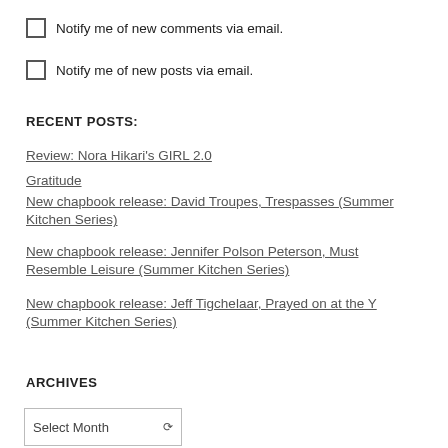Notify me of new comments via email.
Notify me of new posts via email.
RECENT POSTS:
Review: Nora Hikari's GIRL 2.0
Gratitude
New chapbook release: David Troupes, Trespasses (Summer Kitchen Series)
New chapbook release: Jennifer Polson Peterson, Must Resemble Leisure (Summer Kitchen Series)
New chapbook release: Jeff Tigchelaar, Prayed on at the Y (Summer Kitchen Series)
ARCHIVES
Select Month